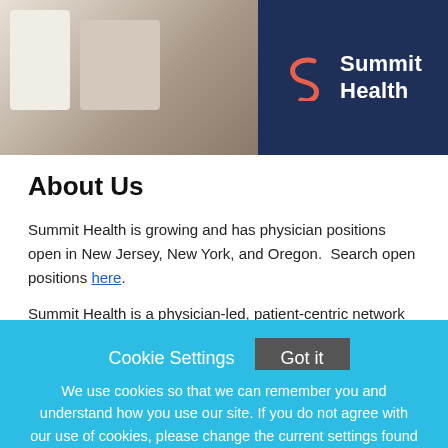[Figure (photo): Medical office scene showing a physician with a patient, dark furniture in background]
[Figure (logo): Summit Health logo — stylized S in coral/salmon color with white 'Summit Health' text on dark navy background]
About Us
Summit Health is growing and has physician positions open in New Jersey, New York, and Oregon.  Search open positions here.
Summit Health is a physician-led, patient-centric network committed to simplifying the complexities of health care and bringing a more
Cookie Settings   Got it
We use cookies so that we can remember you and understand how you use our site. If you do not agree with our use of cookies, please change the current settings found in our Cookie Policy. Otherwise, you agree to the use of the cookies as they are currently set.